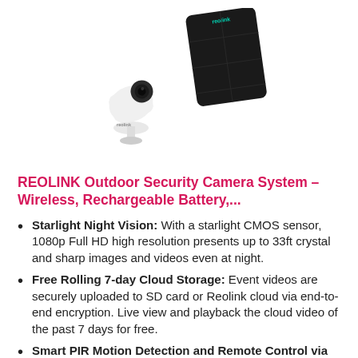[Figure (photo): Reolink outdoor security camera with solar panel. White bullet-style camera mounted in front of a black rectangular solar panel. Reolink branding visible on both the camera and panel.]
REOLINK Outdoor Security Camera System – Wireless, Rechargeable Battery,...
Starlight Night Vision: With a starlight CMOS sensor, 1080p Full HD high resolution presents up to 33ft crystal and sharp images and videos even at night.
Free Rolling 7-day Cloud Storage: Event videos are securely uploaded to SD card or Reolink cloud via end-to-end encryption. Live view and playback the cloud video of the past 7 days for free.
Smart PIR Motion Detection and Remote Control via